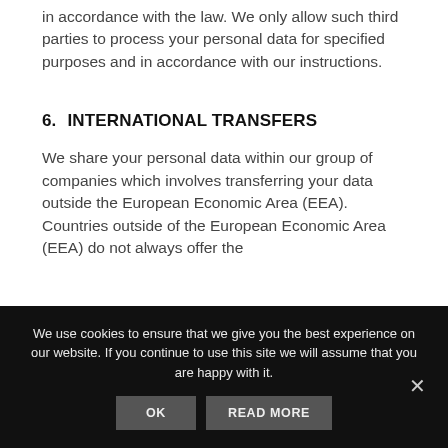in accordance with the law. We only allow such third parties to process your personal data for specified purposes and in accordance with our instructions.
6.  INTERNATIONAL TRANSFERS
We share your personal data within our group of companies which involves transferring your data outside the European Economic Area (EEA). Countries outside of the European Economic Area (EEA) do not always offer the
We use cookies to ensure that we give you the best experience on our website. If you continue to use this site we will assume that you are happy with it.
OK
READ MORE